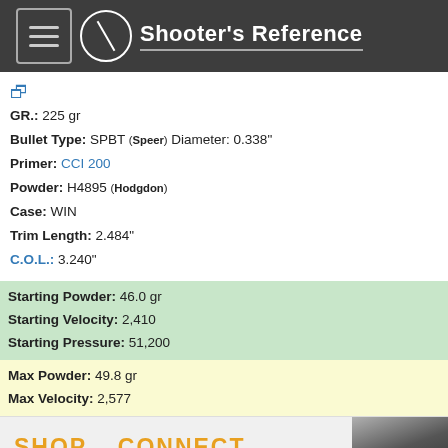Shooter's Reference
GR.: 225 gr
Bullet Type: SPBT (Speer) Diameter: 0.338"
Primer: CCI 200
Powder: H4895 (Hodgdon)
Case: WIN
Trim Length: 2.484"
C.O.L.: 3.240"
Starting Powder: 46.0 gr
Starting Velocity: 2,410
Starting Pressure: 51,200
Max Powder: 49.8 gr
Max Velocity: 2,577
SHOP.   CONNECT.   ENJOY.
Privacy